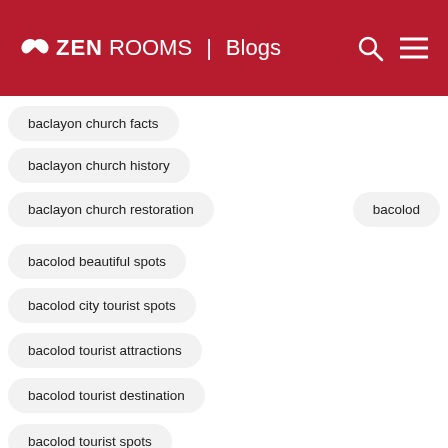ZEN ROOMS | Blogs
baclayon church facts
baclayon church history
baclayon church restoration
bacolod
bacolod beautiful spots
bacolod city tourist spots
bacolod tourist attractions
bacolod tourist destination
bacolod tourist spots
bacolod tourist spots beach
bad reviews